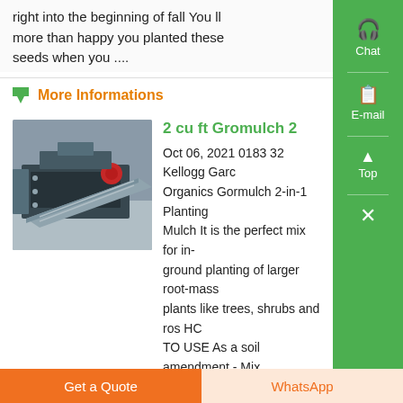right into the beginning of fall You ll more than happy you planted these seeds when you ....
More Informations
2 cu ft Gromulch 2
Oct 06, 2021 0183 32 Kellogg Garden Organics Gormulch 2-in-1 Planting Mulch It is the perfect mix for in-ground planting of larger root-mass plants like trees, shrubs and ros HOW TO USE As a soil amendment - Mix Gormulch 2-in-1 Planting Mix Mulch 50 50 with native soil for...
Get a Quote
WhatsApp